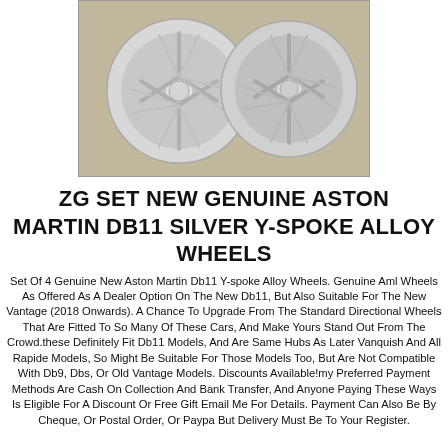[Figure (photo): Photograph of two silver Aston Martin DB11 Y-spoke alloy wheels placed on a surface, viewed from above at an angle.]
ZG SET NEW GENUINE ASTON MARTIN DB11 SILVER Y-SPOKE ALLOY WHEELS
Set Of 4 Genuine New Aston Martin Db11 Y-spoke Alloy Wheels. Genuine Aml Wheels As Offered As A Dealer Option On The New Db11, But Also Suitable For The New Vantage (2018 Onwards). A Chance To Upgrade From The Standard Directional Wheels That Are Fitted To So Many Of These Cars, And Make Yours Stand Out From The Crowd.these Definitely Fit Db11 Models, And Are Same Hubs As Later Vanquish And All Rapide Models, So Might Be Suitable For Those Models Too, But Are Not Compatible With Db9, Dbs, Or Old Vantage Models. Discounts Available!my Preferred Payment Methods Are Cash On Collection And Bank Transfer, And Anyone Paying These Ways Is Eligible For A Discount Or Free Gift Email Me For Details. Payment Can Also Be By Cheque, Or Postal Order, Or Paypa But Delivery Must Be To Your Register.